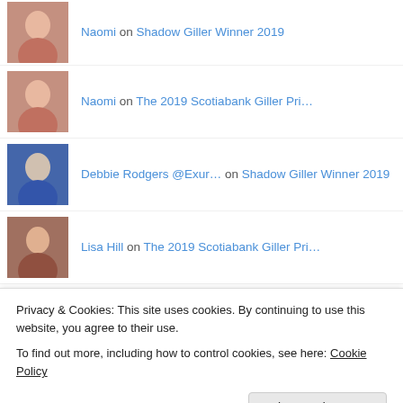Naomi on Shadow Giller Winner 2019
Naomi on The 2019 Scotiabank Giller Pri…
Debbie Rodgers @Exur… on Shadow Giller Winner 2019
Lisa Hill on The 2019 Scotiabank Giller Pri…
Naomi on Shadow Giller Winner 2019
Naomi on Shadow Giller Winner 2019
Naomi on Shadow Giller Winner 2019
Naomi on Giller Shortlist: Lampedusa by…
Privacy & Cookies: This site uses cookies. By continuing to use this website, you agree to their use. To find out more, including how to control cookies, see here: Cookie Policy
Close and accept